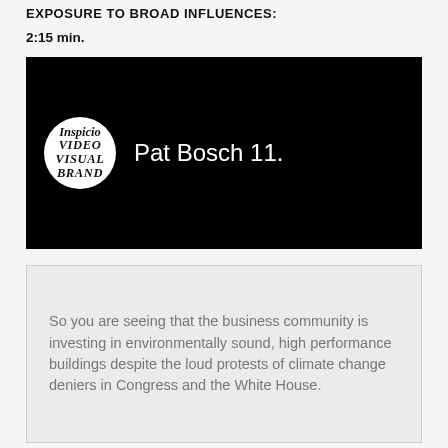EXPOSURE TO BROAD INFLUENCES:
2:15 min.
[Figure (screenshot): Video thumbnail showing Inspicio logo circle on black background with text 'Pat Bosch 11.']
So you are seeing that the business community is investing in environmentally sound, high performance buildings despite the loud protests of climate change deniers in Congress and the White House.